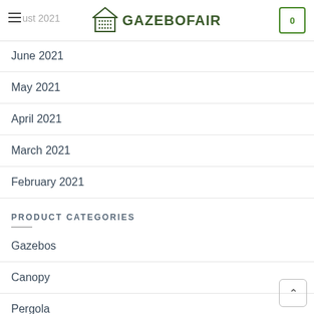GAZEBOFAIR
June 2021
May 2021
April 2021
March 2021
February 2021
PRODUCT CATEGORIES
Gazebos
Canopy
Pergola